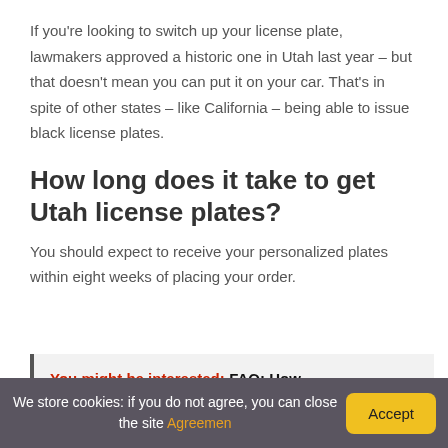If you're looking to switch up your license plate, lawmakers approved a historic one in Utah last year – but that doesn't mean you can put it on your car. That's in spite of other states – like California – being able to issue black license plates.
How long does it take to get Utah license plates?
You should expect to receive your personalized plates within eight weeks of placing your order.
You might be interested:  FAQ: How
We store cookies: if you do not agree, you can close the site  Agreemen  Accept